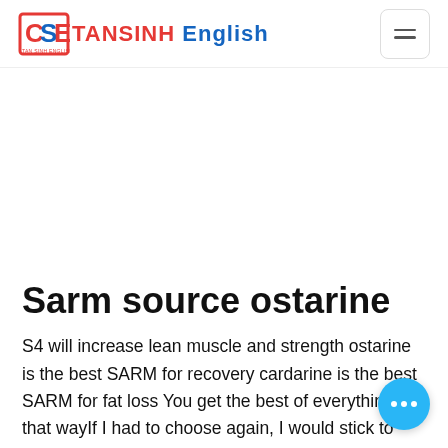TANSINH English
Sarm source ostarine
S4 will increase lean muscle and strength ostarine is the best SARM for recovery cardarine is the best SARM for fat loss You get the best of everything that wayIf I had to choose again, I would stick to carb carbs unless I had a problem with the creatine because it is a diuretic as w a diuretic in the body. Cardarine is the best. If I were to choose for recovery, I